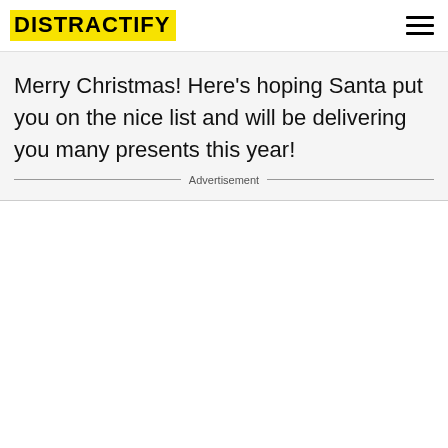DISTRACTIFY
Merry Christmas! Here's hoping Santa put you on the nice list and will be delivering you many presents this year!
Advertisement
More from Distractify